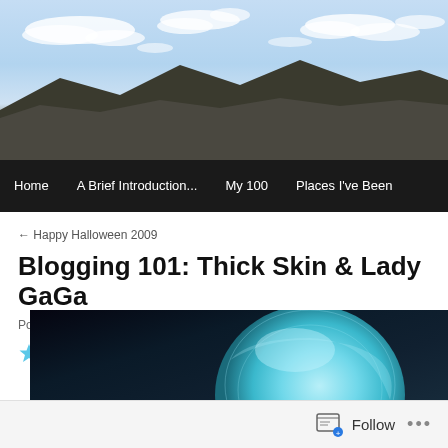[Figure (photo): Sky and mountain landscape banner photo with blue sky, white clouds, and dark mountain silhouette]
Home | A Brief Introduction... | My 100 | Places I've Been
← Happy Halloween 2009
Blogging 101: Thick Skin & Lady GaGa
Posted on November 2, 2009 by Alan
23 Votes
[Figure (photo): Close-up photo of a person with blue/teal hair against a dark background, appearing to be Lady GaGa]